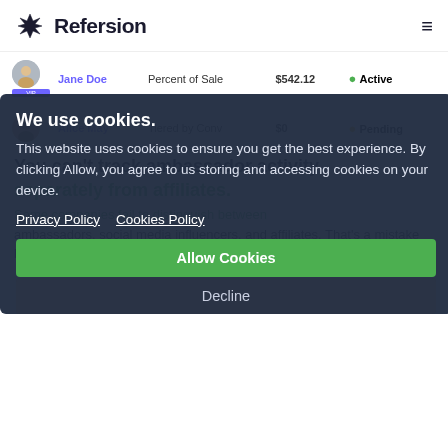Refersion
| Name | Type | Amount | Status |
| --- | --- | --- | --- |
| Jane Doe | Percent of Sale | $542.12 | Active |
| Alice May | Tiered by Conv | $0 | Pending |
We use cookies. This website uses cookies to ensure you get the best experience. By clicking Allow, you agree to us storing and accessing cookies on your device.
Privacy Policy   Cookies Policy
Allow Cookies
You can't track ambassador activity separately from affiliates.
Some companies fail to distinguish between ambassadors, social media influencers, and affiliates. That's a mistake because ambassadors have a different relationship with the company.
Decline